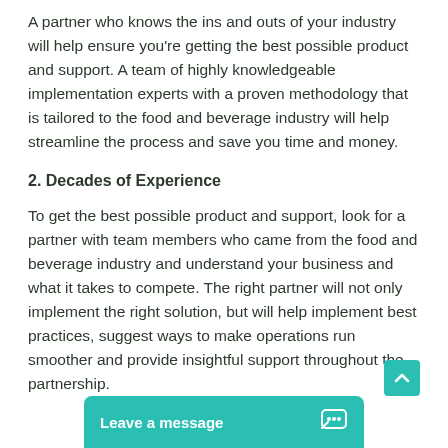A partner who knows the ins and outs of your industry will help ensure you're getting the best possible product and support. A team of highly knowledgeable implementation experts with a proven methodology that is tailored to the food and beverage industry will help streamline the process and save you time and money.
2. Decades of Experience
To get the best possible product and support, look for a partner with team members who came from the food and beverage industry and understand your business and what it takes to compete. The right partner will not only implement the right solution, but will help implement best practices, suggest ways to make operations run smoother and provide insightful support throughout the partnership.